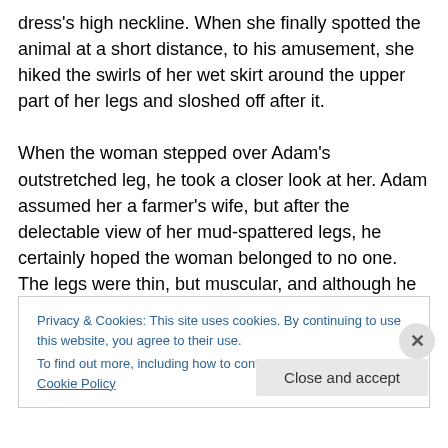dress's high neckline. When she finally spotted the animal at a short distance, to his amusement, she hiked the swirls of her wet skirt around the upper part of her legs and sloshed off after it.

When the woman stepped over Adam's outstretched leg, he took a closer look at her. Adam assumed her a farmer's wife, but after the delectable view of her mud-spattered legs, he certainly hoped the woman belonged to no one. The legs were thin, but muscular, and although he lay on his backside in filthy mud, Adam envisioned those legs wrapped around his body. His gaze rose higher to her
Privacy & Cookies: This site uses cookies. By continuing to use this website, you agree to their use.
To find out more, including how to control cookies, see here: Cookie Policy
Close and accept